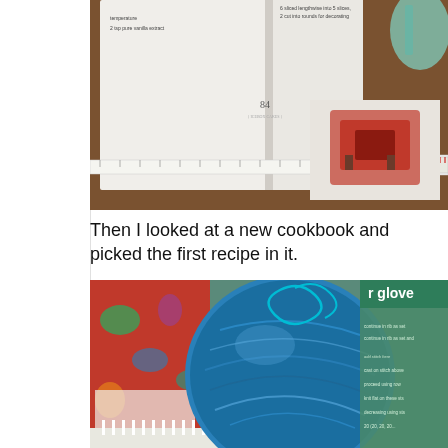[Figure (photo): Photo of an open cookbook showing page 84 with a ruler/measuring tape laid across it, and a book with a red chair image visible beneath. Taken on a wooden surface.]
Then I looked at a new cookbook and picked the first recipe in it.
[Figure (photo): Photo of a large teal/blue ball of yarn on a loom knitting board, with a colorful floral fabric and a knitting pattern booklet (partially visible text 'r glove') in the background.]